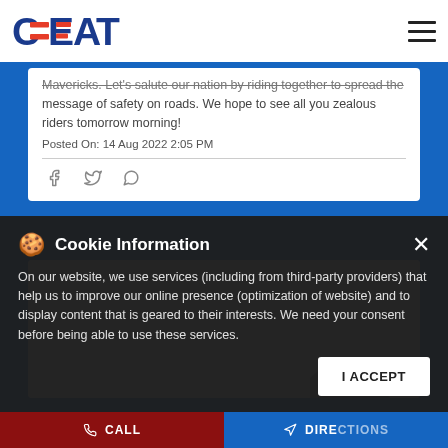CEAT
Mavericks. Let's salute our nation by riding together to spread the message of safety on roads. We hope to see all you zealous riders tomorrow morning!
Posted On: 14 Aug 2022 2:05 PM
[Figure (screenshot): Gray image area card, partially visible, with dark swoosh decoration]
Cookie Information
On our website, we use services (including from third-party providers) that help us to improve our online presence (optimization of website) and to display content that is geared to their interests. We need your consent before being able to use these services.
I ACCEPT
CALL    DIRECTIONS